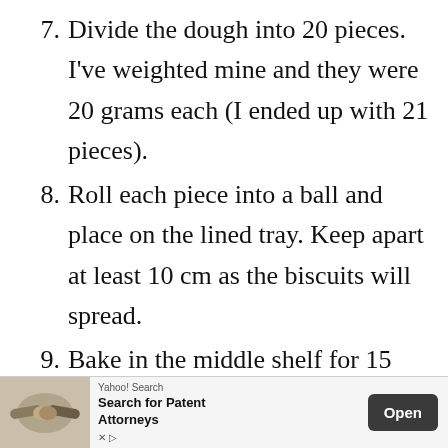7. Divide the dough into 20 pieces. I've weighted mine and they were 20 grams each (I ended up with 21 pieces).
8. Roll each piece into a ball and place on the lined tray. Keep apart at least 10 cm as the biscuits will spread.
9. Bake in the middle shelf for 15 minutes (they should be
[Figure (other): Advertisement banner: Yahoo! Search — Search for Patent Attorneys, with Open button and handshake image.]